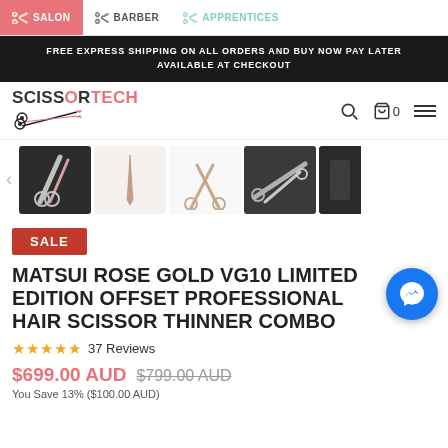SALON   BARBER   APPRENTICES
FREE EXPRESS SHIPPING ON ALL ORDERS AND BUY NOW PAY LATER AVAILABLE AT CHECKOUT
[Figure (logo): ScissorTech logo with scissors graphic and the word SCISSORTECH in black and pink]
[Figure (photo): Thumbnail strip showing 5 product images of rose gold scissors and thinner combo set]
SALE
MATSUI ROSE GOLD VG10 LIMITED EDITION OFFSET PROFESSIONAL HAIR SCISSOR THINNER COMBO
★★★★★ 37 Reviews
$699.00 AUD  $799.00 AUD
You Save 13% ($100.00 AUD)